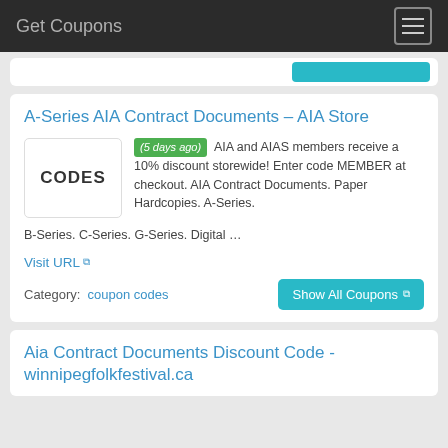Get Coupons
A-Series AIA Contract Documents – AIA Store
(5 days ago) AIA and AIAS members receive a 10% discount storewide! Enter code MEMBER at checkout. AIA Contract Documents. Paper Hardcopies. A-Series. B-Series. C-Series. G-Series. Digital …
Visit URL
Category:  coupon codes
Aia Contract Documents Discount Code - winnipegfolkfestival.ca